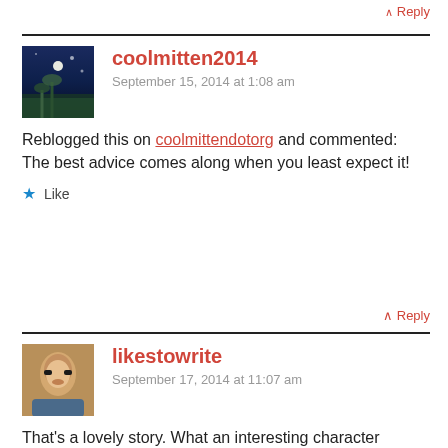^ Reply
coolmitten2014
September 15, 2014 at 1:08 am
Reblogged this on coolmittendotorg and commented:
The best advice comes along when you least expect it!
★ Like
^ Reply
likestowrite
September 17, 2014 at 11:07 am
That's a lovely story. What an interesting character